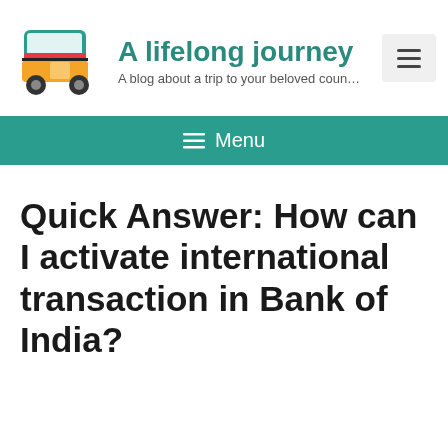A lifelong journey — A blog about a trip to your beloved coun…
≡ Menu
Quick Answer: How can I activate international transaction in Bank of India?